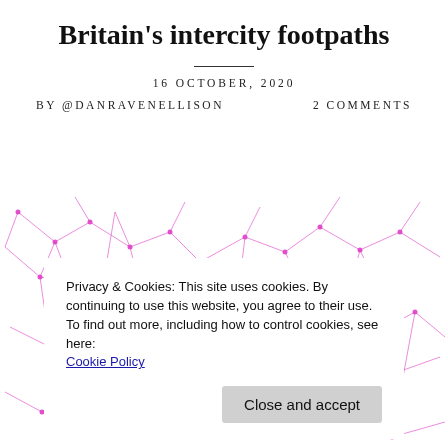Britain's intercity footpaths
16 OCTOBER, 2020
BY @DANRAVENELLISON   2 COMMENTS
[Figure (illustration): Abstract pink/magenta network or neural pattern on white background, resembling interconnected nodes and lines across the full width of the page.]
Privacy & Cookies: This site uses cookies. By continuing to use this website, you agree to their use.
To find out more, including how to control cookies, see here: Cookie Policy
Close and accept